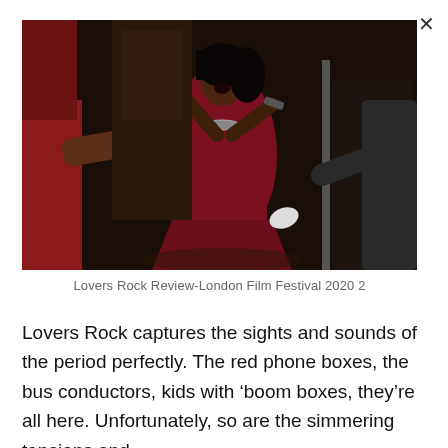[Figure (photo): A woman in a dark red sleeveless dress dancing energetically, mouth open, at what appears to be a party or social gathering. Other people are visible around her in a dimly lit indoor setting.]
Lovers Rock Review-London Film Festival 2020 2
Lovers Rock captures the sights and sounds of the period perfectly. The red phone boxes, the bus conductors, kids with ‘boom boxes, they’re all here. Unfortunately, so are the simmering tensions and